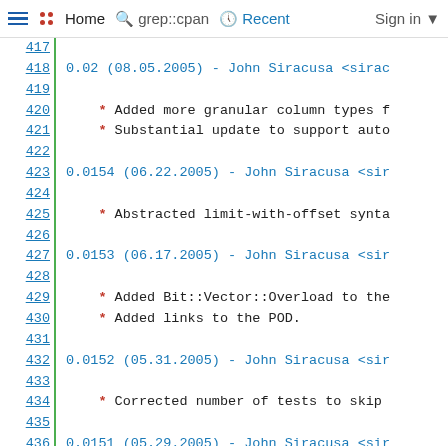☰ ⠿ Home 🔍 grep::cpan 🕐 Recent Sign in ▾
Line numbers 417-442 with code content showing changelog entries for versions 0.02, 0.0154, 0.0153, 0.0152, 0.0151, 0.015 by John Siracusa